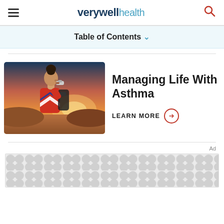verywell health
Table of Contents
[Figure (photo): Woman in red sweater using an inhaler outdoors at sunset with a backpack on]
Managing Life With Asthma
LEARN MORE →
[Figure (other): Advertisement banner with repeating circle dot pattern background]